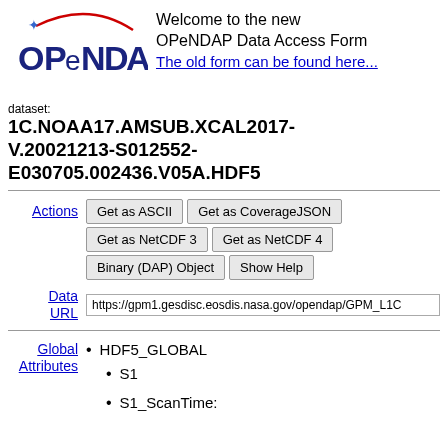[Figure (logo): OPeNDAP logo with blue text and red arc with blue star]
Welcome to the new OPeNDAP Data Access Form
The old form can be found here...
dataset: 1C.NOAA17.AMSUB.XCAL2017-V.20021213-S012552-E030705.002436.V05A.HDF5
Actions
Get as ASCII | Get as CoverageJSON | Get as NetCDF 3 | Get as NetCDF 4 | Binary (DAP) Object | Show Help
Data URL
https://gpm1.gesdisc.eosdis.nasa.gov/opendap/GPM_L1C
Global Attributes
HDF5_GLOBAL
S1
S1_ScanTime: